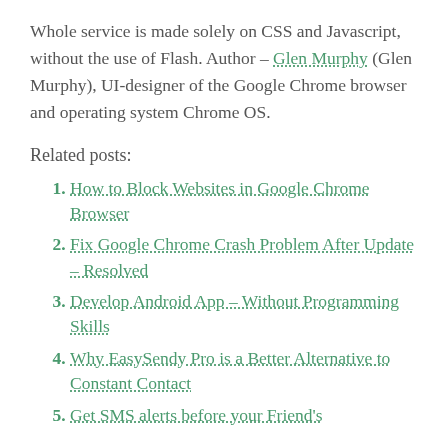Whole service is made solely on CSS and Javascript, without the use of Flash. Author – Glen Murphy (Glen Murphy), UI-designer of the Google Chrome browser and operating system Chrome OS.
Related posts:
How to Block Websites in Google Chrome Browser
Fix Google Chrome Crash Problem After Update – Resolved
Develop Android App – Without Programming Skills
Why EasySendy Pro is a Better Alternative to Constant Contact
Get SMS alerts before your Friend's